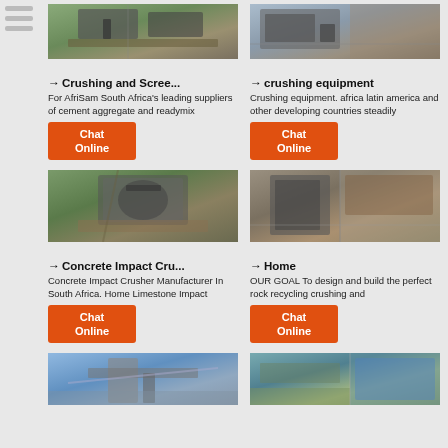[Figure (photo): Industrial crushing/screening machinery outdoor]
[Figure (photo): Industrial crushing equipment facility]
→ Crushing and Scree...
→ crushing equipment
For AfriSam South Africa's leading suppliers of cement aggregate and readymix
Crushing equipment. africa latin america and other developing countries steadily
Chat Online
Chat Online
[Figure (photo): Concrete impact crusher machinery at an outdoor site]
[Figure (photo): Industrial plant/home crushing facility interior]
→ Concrete Impact Cru...
→ Home
Concrete Impact Crusher Manufacturer In South Africa. Home Limestone Impact
OUR GOAL To design and build the perfect rock recycling crushing and
Chat Online
Chat Online
[Figure (photo): Construction crane/conveyor equipment outdoors blue sky]
[Figure (photo): Outdoor equipment with blue tarp/cover]